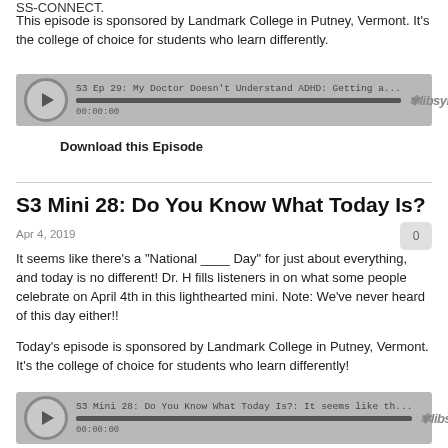SS-CONNECT.
This episode is sponsored by Landmark College in Putney, Vermont. It's the college of choice for students who learn differently.
[Figure (other): Libsyn audio player for S3 Ep 29: My Doctor Doesn't Understand ADHD: Getting a... showing 00:00:00]
Download this Episode
S3 Mini 28: Do You Know What Today Is?
Apr 4, 2019
It seems like there's a "National ____ Day" for just about everything, and today is no different! Dr. H fills listeners in on what some people celebrate on April 4th in this lighthearted mini. Note: We've never heard of this day either!!
Today's episode is sponsored by Landmark College in Putney, Vermont. It's the college of choice for students who learn differently!
[Figure (other): Libsyn audio player for S3 Mini 28: Do You Know What Today Is?: It seems like th... showing 00:00:00]